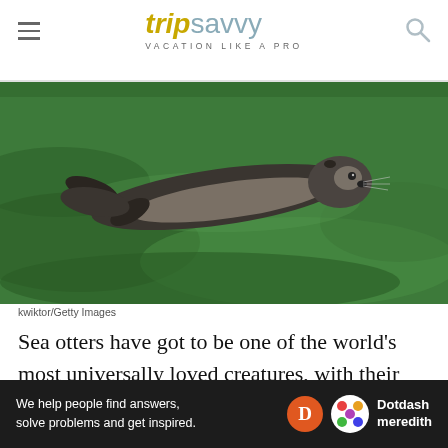tripsavvy — VACATION LIKE A PRO
[Figure (photo): A sea otter swimming underwater above a green algae-covered floor, viewed from the side, photographed through glass.]
kwiktor/Getty Images
Sea otters have got to be one of the world's most universally loved creatures, with their expressive, whiskered faces and playful nature. You can get an amazing insight into the daily lives of the sea otters at
[Figure (infographic): Dotdash Meredith advertisement banner: 'We help people find answers, solve problems and get inspired.' with Dotdash Meredith logo on dark background.]